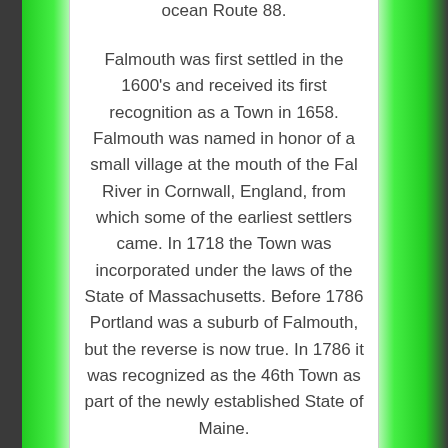ocean Route 88.
Falmouth was first settled in the 1600's and received its first recognition as a Town in 1658. Falmouth was named in honor of a small village at the mouth of the Fal River in Cornwall, England, from which some of the earliest settlers came. In 1718 the Town was incorporated under the laws of the State of Massachusetts. Before 1786 Portland was a suburb of Falmouth, but the reverse is now true. In 1786 it was recognized as the 46th Town as part of the newly established State of Maine.
Conveniently located between Freeport